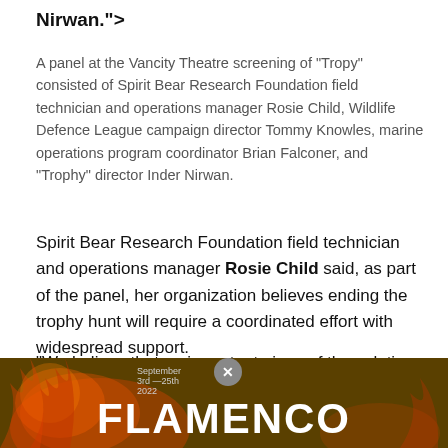Nirwan.">
A panel at the Vancity Theatre screening of "Tropy" consisted of Spirit Bear Research Foundation field technician and operations manager Rosie Child, Wildlife Defence League campaign director Tommy Knowles, marine operations program coordinator Brian Falconer, and "Trophy" director Inder Nirwan.
Spirit Bear Research Foundation field technician and operations manager Rosie Child said, as part of the panel, her organization believes ending the trophy hunt will require a coordinated effort with widespread support.
"We believe that an important piece of the solution is collecting and sharing widely information about these individual bears," she said. "Despite the fact that over 90 percent of British Columbians support a ban on trophy hunting, the province is still allowing between 250 and 300
[Figure (advertisement): FLAMENCO advertisement banner with fire imagery, dates September 3rd–25th 2022, dark olive/brown background with large white bold text reading FLAMENCO]